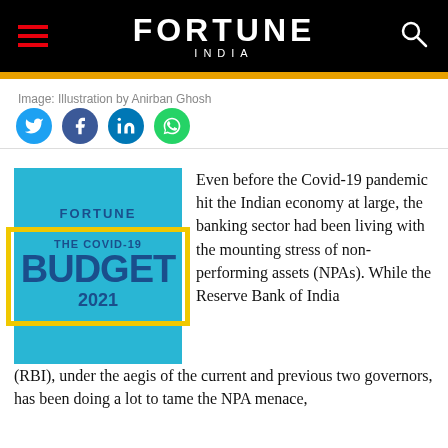FORTUNE INDIA
Image: Illustration by Anirban Ghosh
[Figure (logo): Fortune India - The Covid-19 Budget 2021 magazine cover illustration on light blue background with yellow border]
Even before the Covid-19 pandemic hit the Indian economy at large, the banking sector had been living with the mounting stress of non-performing assets (NPAs). While the Reserve Bank of India (RBI), under the aegis of the current and previous two governors, has been doing a lot to tame the NPA menace,